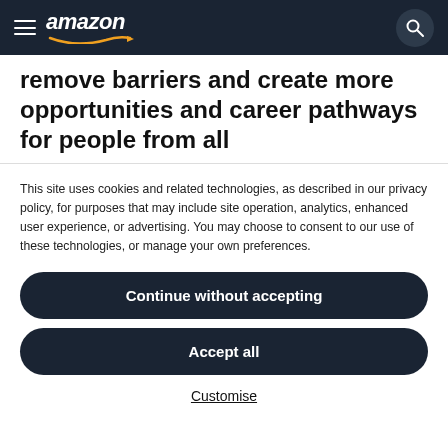amazon navigation bar with hamburger menu, Amazon logo, and search icon
remove barriers and create more opportunities and career pathways for people from all
This site uses cookies and related technologies, as described in our privacy policy, for purposes that may include site operation, analytics, enhanced user experience, or advertising. You may choose to consent to our use of these technologies, or manage your own preferences.
Continue without accepting
Accept all
Customise